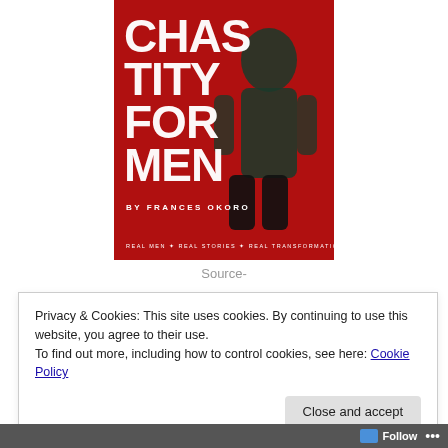[Figure (illustration): Book cover for 'Chastity For Men' by Frances Okoro. Red background with a dark silhouette of a person in a green shirt. Large white distressed text reads 'CHASTITY FOR MEN'. Author name 'BY FRANCES OKORO' below. Tagline: 'REAL MEN * REAL STORIES * REAL TRANSFORMATIONS'.]
Source-
Privacy & Cookies: This site uses cookies. By continuing to use this website, you agree to their use.
To find out more, including how to control cookies, see here: Cookie Policy